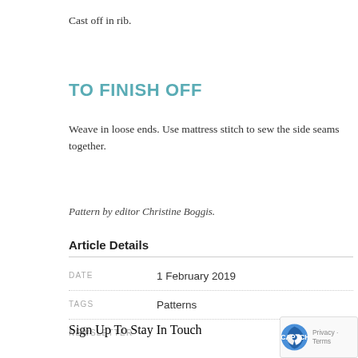Cast off in rib.
TO FINISH OFF
Weave in loose ends. Use mattress stitch to sew the side seams together.
Pattern by editor Christine Boggis.
Article Details
|  |  |
| --- | --- |
| DATE | 1 February 2019 |
| TAGS | Patterns |
| NEWSLETTER | Sign Up To Stay In Touch |